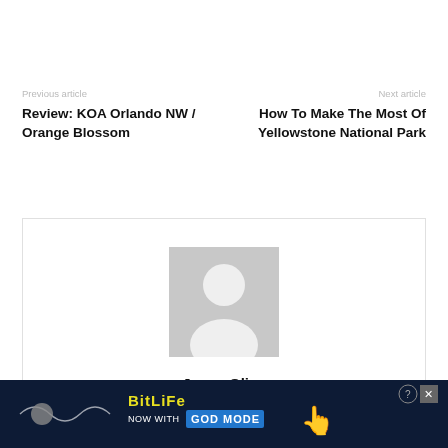Previous article
Review: KOA Orlando NW / Orange Blossom
Next article
How To Make The Most Of Yellowstone National Park
[Figure (illustration): Author profile placeholder with generic silhouette avatar in gray, followed by the name Joyce Oliva]
Joyce Oliva
[Figure (screenshot): BitLife advertisement banner at the bottom of the page showing 'BitLife NOW WITH GOD MODE' text with decorative elements]